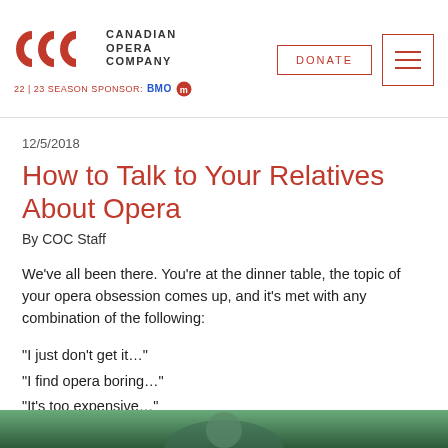Canadian Opera Company — 22|23 SEASON SPONSOR: BMO | DONATE
12/5/2018
How to Talk to Your Relatives About Opera
By COC Staff
We've all been there. You're at the dinner table, the topic of your opera obsession comes up, and it's met with any combination of the following:
“I just don’t get it…”
“I find opera boring…”
“It’s too expensive…”
“It’s just not for me…”
[Figure (photo): Partial photo strip at bottom of page, showing a person in a green/teal setting]